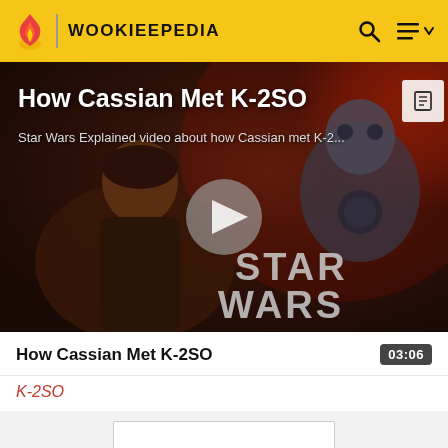WOOKIEEPEDIA
[Figure (screenshot): Video thumbnail for 'How Cassian Met K-2SO' showing Star Wars artwork with Cassian Andor holding a blaster and K-2SO droid, with STAR WARS logo overlay and a play button in the center]
How Cassian Met K-2SO
Star Wars Explained video about how Cassian met K-2...
How Cassian Met K-2SO  03:06
K-2SO